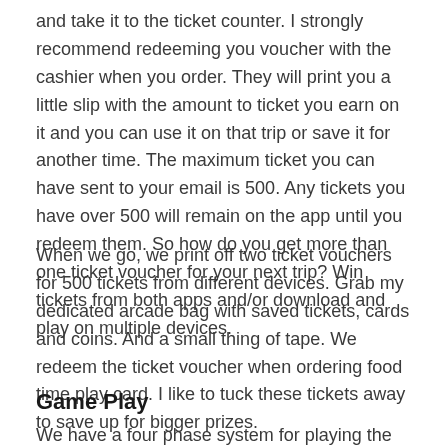and take it to the ticket counter. I strongly recommend redeeming you voucher with the cashier when you order. They will print you a little slip with the amount to ticket you earn on it and you can use it on that trip or save it for another time. The maximum ticket you can have sent to your email is 500. Any tickets you have over 500 will remain on the app until you redeem them. So how do you get more than one ticket voucher for your next trip? Win tickets from both apps and/or download and play on multiple devices.
When we go, we print off two ticket vouchers for 500 tickets from different devices. Grab my dedicated arcade bag with saved tickets, cards and coins. And a small thing of tape. We redeem the ticket voucher when ordering food time play card. I like to tuck these tickets away to save up for bigger prizes.
Game Play
We have a four phase system for playing the games.